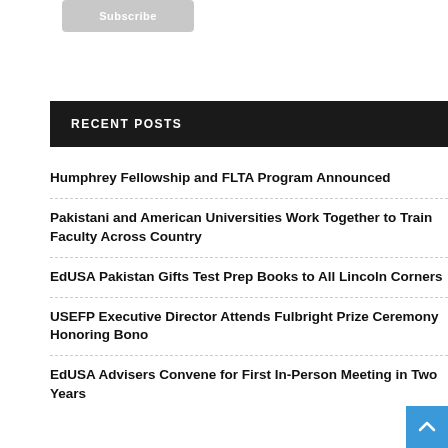Subscribe
RECENT POSTS
Humphrey Fellowship and FLTA Program Announced
Pakistani and American Universities Work Together to Train Faculty Across Country
EdUSA Pakistan Gifts Test Prep Books to All Lincoln Corners
USEFP Executive Director Attends Fulbright Prize Ceremony Honoring Bono
EdUSA Advisers Convene for First In-Person Meeting in Two Years